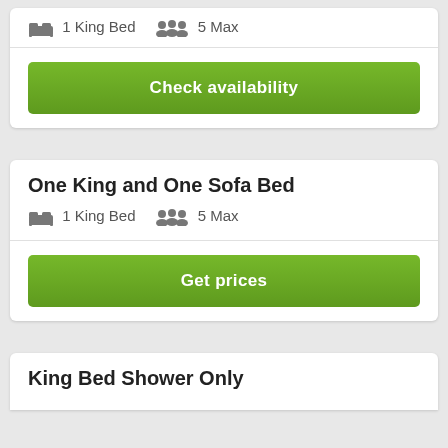1 King Bed   5 Max
Check availability
One King and One Sofa Bed
1 King Bed   5 Max
Get prices
King Bed Shower Only